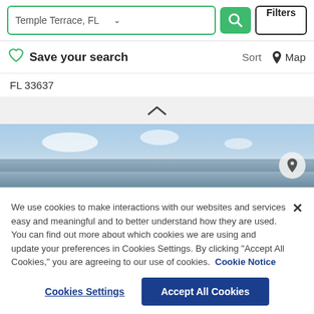Temple Terrace, FL  Filters
Save your search  Sort  Map
FL 33637
[Figure (photo): Chevron/caret up icon on light gray background]
[Figure (photo): Aerial or distant beach/ocean photo with blue sky and clouds, with a location pin badge in lower right corner]
We use cookies to make interactions with our websites and services easy and meaningful and to better understand how they are used. You can find out more about which cookies we are using and update your preferences in Cookies Settings. By clicking "Accept All Cookies," you are agreeing to our use of cookies.  Cookie Notice
Cookies Settings
Accept All Cookies